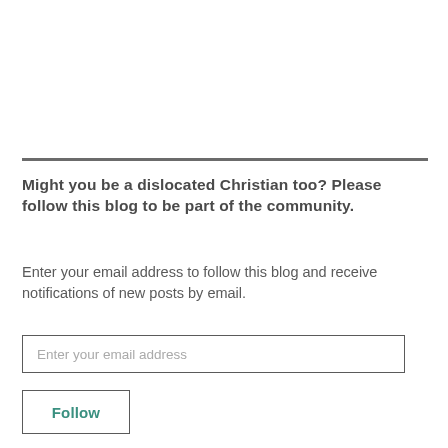Might you be a dislocated Christian too? Please follow this blog to be part of the community.
Enter your email address to follow this blog and receive notifications of new posts by email.
Enter your email address
Follow